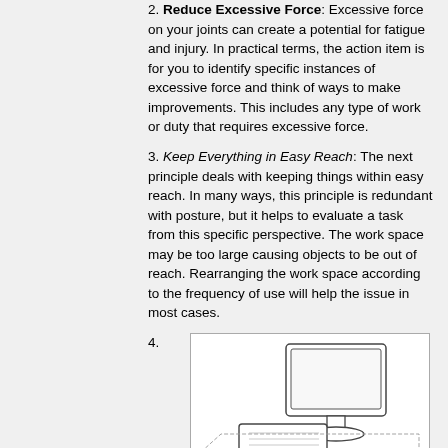2. Reduce Excessive Force: Excessive force on your joints can create a potential for fatigue and injury. In practical terms, the action item is for you to identify specific instances of excessive force and think of ways to make improvements. This includes any type of work or duty that requires excessive force.
3. Keep Everything in Easy Reach: The next principle deals with keeping things within easy reach. In many ways, this principle is redundant with posture, but it helps to evaluate a task from this specific perspective. The work space may be too large causing objects to be out of reach. Rearranging the work space according to the frequency of use will help the issue in most cases.
4.
[Figure (illustration): Line drawing illustration of a computer monitor and keyboard on a desk surface, viewed from an angle, showing ergonomic workstation setup.]